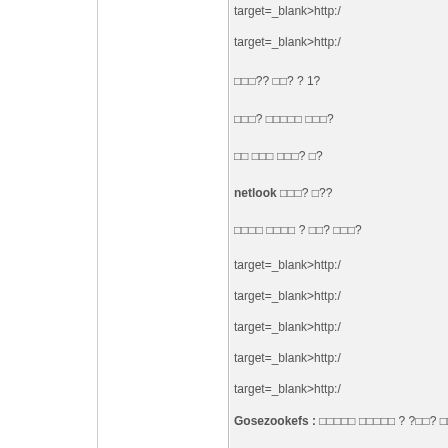target=_blank>http:/
target=_blank>http:/
□□□?? □□? ? 1?
□□□? □□□□□ □□□?
□□ □□□ □□□? □?
netnook □□□? □??
□□□□ □□□□ ? □□? □□□?
target=_blank>http:/
target=_blank>http:/
target=_blank>http:/
target=_blank>http:/
target=_blank>http:/
Gosezookefs : □□□□□ □□□□□ ? ?□□? □□□?
□□□? □□□□? □□
□□□? □□ 2003 crack
□□□? warcraft 3 froze
□□□? □□□□? □□□? lingvo
target=_blank>http:/
target=_blank>http:/
he/supercache